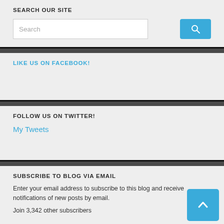SEARCH OUR SITE
[Figure (screenshot): Search input field with placeholder text 'Search' and a blue search button with magnifying glass icon]
LIKE US ON FACEBOOK!
FOLLOW US ON TWITTER!
My Tweets
SUBSCRIBE TO BLOG VIA EMAIL
Enter your email address to subscribe to this blog and receive notifications of new posts by email.
Join 3,342 other subscribers